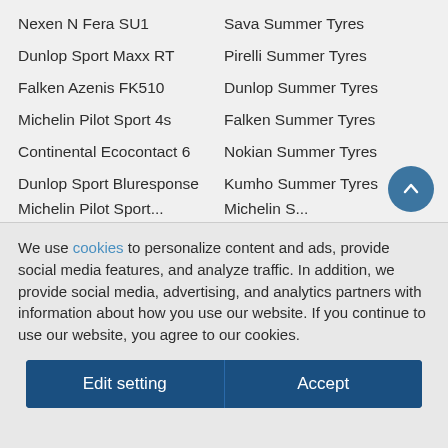Nexen N Fera SU1
Sava Summer Tyres
Dunlop Sport Maxx RT
Pirelli Summer Tyres
Falken Azenis FK510
Dunlop Summer Tyres
Michelin Pilot Sport 4s
Falken Summer Tyres
Continental Ecocontact 6
Nokian Summer Tyres
Dunlop Sport Bluresponse
Kumho Summer Tyres
We use cookies to personalize content and ads, provide social media features, and analyze traffic. In addition, we provide social media, advertising, and analytics partners with information about how you use our website. If you continue to use our website, you agree to our cookies.
Edit setting  Accept